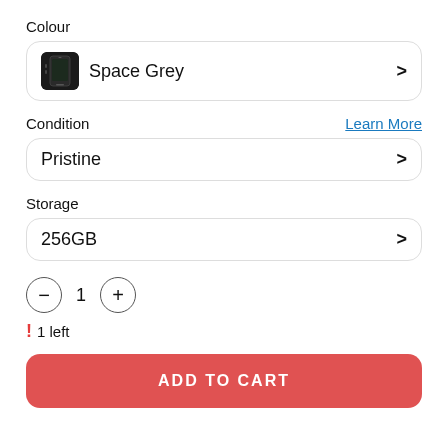Colour
Space Grey
Condition
Learn More
Pristine
Storage
256GB
- 1 +
! 1 left
ADD TO CART